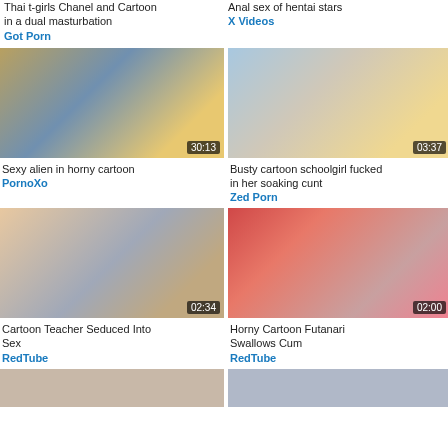Thai t-girls Chanel and Cartoon in a dual masturbation
Got Porn
Anal sex of hentai stars
X Videos
[Figure (screenshot): Anime scene in restaurant/cafe, duration 30:13]
Sexy alien in horny cartoon
PornoXo
[Figure (screenshot): Anime schoolgirl scene, duration 03:37]
Busty cartoon schoolgirl fucked in her soaking cunt
Zed Porn
[Figure (screenshot): Anime teacher scene, duration 02:34]
Cartoon Teacher Seduced Into Sex
RedTube
[Figure (screenshot): Anime red-haired character close-up, duration 02:00]
Horny Cartoon Futanari Swallows Cum
RedTube
[Figure (screenshot): Partial thumbnail bottom left]
[Figure (screenshot): Partial thumbnail bottom right]